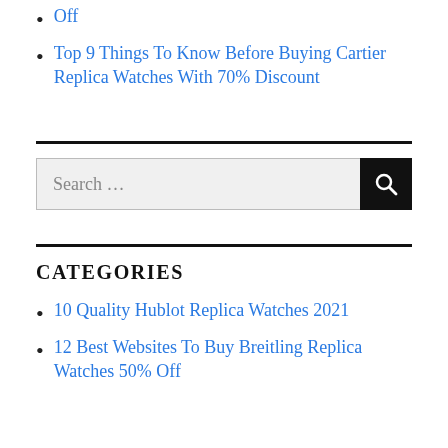Off
Top 9 Things To Know Before Buying Cartier Replica Watches With 70% Discount
CATEGORIES
10 Quality Hublot Replica Watches 2021
12 Best Websites To Buy Breitling Replica Watches 50% Off